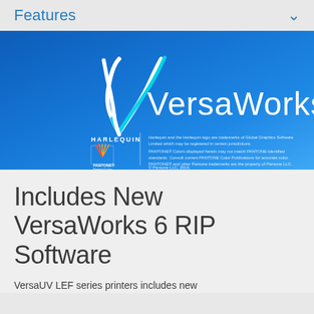Features
[Figure (logo): VersaWorks logo on blue gradient background with Harlequin and Pantone Digital Color partner logos and trademark text]
Includes New VersaWorks 6 RIP Software
VersaUV LEF series printers includes new